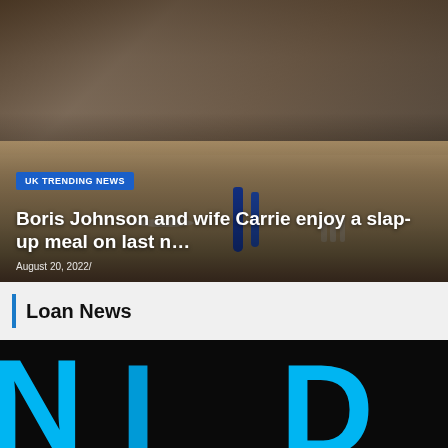[Figure (photo): Group of people sitting around a wooden table with food, drinks, and blue bottles, enjoying a meal together]
UK TRENDING NEWS
Boris Johnson and wife Carrie enjoy a slap-up meal on last n…
August 20, 2022/
Loan News
[Figure (logo): Partial view of a logo with large cyan/blue letters on dark background, partially cropped at bottom of page]